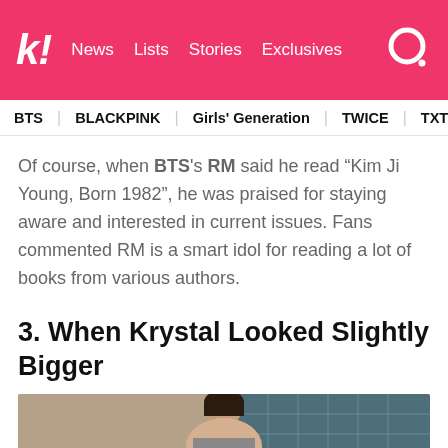k! News | Lists | Stories | Exclusives
BTS | BLACKPINK | Girls' Generation | TWICE | TXT | SEVE...
Of course, when BTS's RM said he read “Kim Ji Young, Born 1982”, he was praised for staying aware and interested in current issues. Fans commented RM is a smart idol for reading a lot of books from various authors.
3. When Krystal Looked Slightly Bigger
[Figure (photo): Photo of a woman with dark hair, outdoors in front of a glass building]